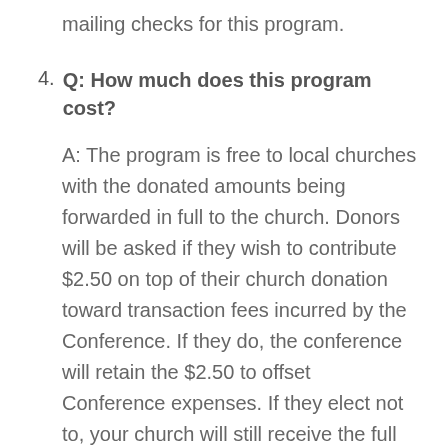mailing checks for this program.
4. Q: How much does this program cost?
A: The program is free to local churches with the donated amounts being forwarded in full to the church. Donors will be asked if they wish to contribute $2.50 on top of their church donation toward transaction fees incurred by the Conference. If they do, the conference will retain the $2.50 to offset Conference expenses. If they elect not to, your church will still receive the full amount of the donation with the Conference paying transaction costs.